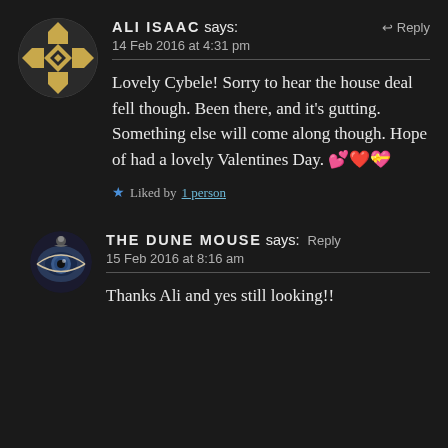[Figure (illustration): Circular avatar with geometric/checkerboard pattern in gold and white on dark background]
ALI ISAAC says:
↩ Reply
14 Feb 2016 at 4:31 pm
Lovely Cybele! Sorry to hear the house deal fell though. Been there, and it's gutting. Something else will come along though. Hope of had a lovely Valentines Day. 💕❤️💝
★ Liked by 1 person
[Figure (photo): Small circular avatar showing a close-up eye image with a person in the reflection]
THE DUNE MOUSE says: Reply
15 Feb 2016 at 8:16 am
Thanks Ali and yes still looking!!